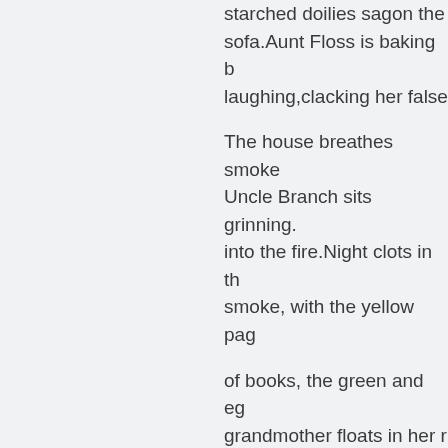starched doilies sagon the sofa.Aunt Floss is baking b laughing,clacking her false

The house breathes smoke Uncle Branch sits grinning. into the fire.Night clots in th smoke, with the yellow pag

of books, the green and eg grandmother floats in her r and forth all afternoon.All a rinsed hazelifts from the cu

fleshing in clumps along th now for the mailmanleavin jeep.It's time for us to call t

waiting below